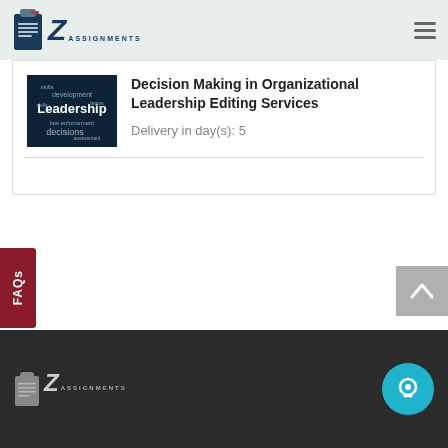OZ Assignments
[Figure (screenshot): Leadership word cloud image with dark blue background, showing words like Leadership, decisions, development, skills, law enforcement]
Decision Making in Organizational Leadership Editing Services
Delivery in day(s): 5
FAQs
[Figure (logo): OZ Assignments logo in white on dark footer background]
[Figure (illustration): Cyan circular chat/support button icon]